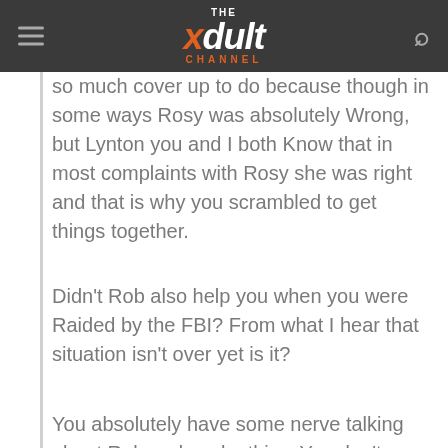The xdult Channel
so much cover up to do because though in some ways Rosy was absolutely Wrong, but Lynton you and I both Know that in most complaints with Rosy she was right and that is why you scrambled to get things together.
Didn’t Rob also help you when you were Raided by the FBI? From what I hear that situation isn’t over yet is it?
You absolutely have some nerve talking about Rob and work ethics. You don’t know what work ethics are. I hope that your studios are aware that they are dealing with someone who has been associated of DISTRIBUTION OF